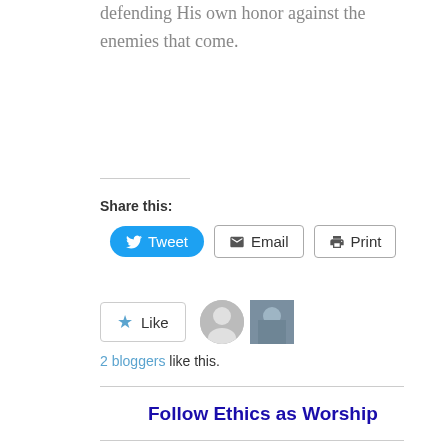defending His own honor against the enemies that come.
Share this:
[Figure (screenshot): Social share buttons: Tweet (blue rounded button with Twitter bird icon), Email (outline button with envelope icon), Print (outline button with printer icon)]
[Figure (screenshot): Like button with star icon, a gray avatar placeholder, and a photo avatar of a person]
2 bloggers like this.
Follow Ethics as Worship
[Figure (photo): Partial photo of a person's head at the bottom of the page]